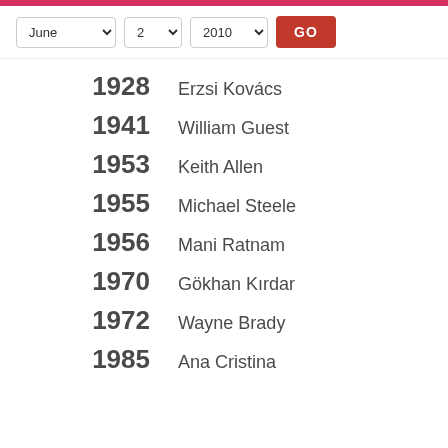June 2 2010 GO
1928 Erzsi Kovács
1941 William Guest
1953 Keith Allen
1955 Michael Steele
1956 Mani Ratnam
1970 Gökhan Kırdar
1972 Wayne Brady
1985 Ana Cristina